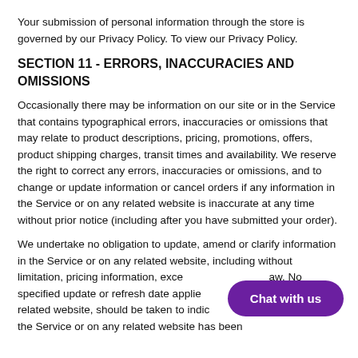Your submission of personal information through the store is governed by our Privacy Policy. To view our Privacy Policy.
SECTION 11 - ERRORS, INACCURACIES AND OMISSIONS
Occasionally there may be information on our site or in the Service that contains typographical errors, inaccuracies or omissions that may relate to product descriptions, pricing, promotions, offers, product shipping charges, transit times and availability. We reserve the right to correct any errors, inaccuracies or omissions, and to change or update information or cancel orders if any information in the Service or on any related website is inaccurate at any time without prior notice (including after you have submitted your order).
We undertake no obligation to update, amend or clarify information in the Service or on any related website, including without limitation, pricing information, except as required by law. No specified update or refresh date applied to the Service or on any related website, should be taken to indicate that all information in the Service or on any related website has been